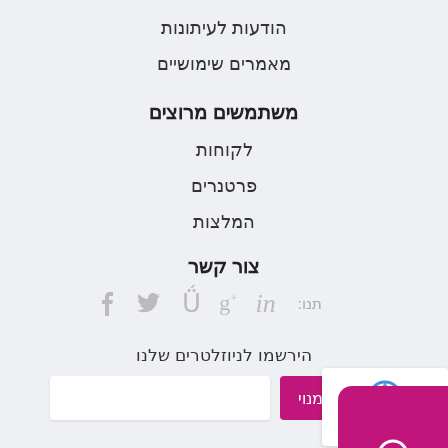הודעות לעיתונות
מאמרים שימושיים
משתמשים מרוצים
לקוחות
פרטנרים
המלצות
צור קשר
תנו: in g+ twitter f
הירשמו לניוזלטרים שלנו
הירשם כמנוי
OneSmartStar. כל הזכויות שמורות.